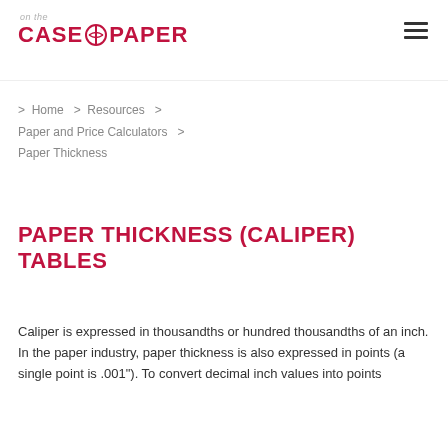[Figure (logo): Case Paper logo with 'on the' above 'CASE [icon] PAPER' in crimson/red bold text]
> Home > Resources > Paper and Price Calculators > Paper Thickness
PAPER THICKNESS (CALIPER) TABLES
Caliper is expressed in thousandths or hundred thousandths of an inch. In the paper industry, paper thickness is also expressed in points (a single point is .001"). To convert decimal inch values into points